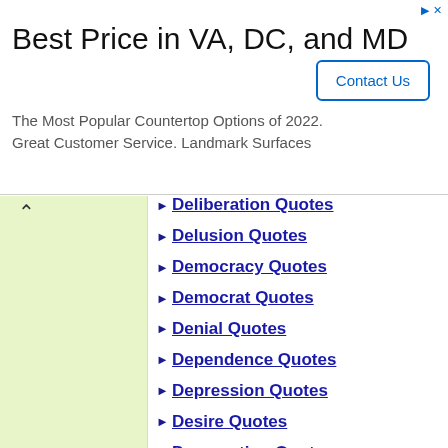[Figure (screenshot): Advertisement banner for Landmark Surfaces countertop services: 'Best Price in VA, DC, and MD', 'The Most Popular Countertop Options of 2022. Great Customer Service. Landmark Surfaces', with a 'Contact Us' button.]
Deliberation Quotes
Delusion Quotes
Democracy Quotes
Democrat Quotes
Denial Quotes
Dependence Quotes
Depression Quotes
Desire Quotes
Desperation Quotes
Despotism Quotes
Destiny Quotes
Destruction Quotes
Determination Quotes
Devotion Quotes
Dictatorship Quotes
Difficulty Quotes